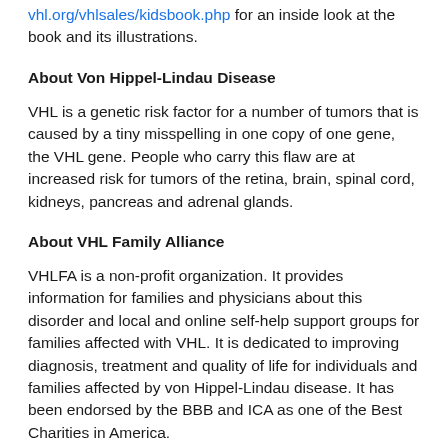vhl.org/vhlsales/kidsbook.php for an inside look at the book and its illustrations.
About Von Hippel-Lindau Disease
VHL is a genetic risk factor for a number of tumors that is caused by a tiny misspelling in one copy of one gene, the VHL gene. People who carry this flaw are at increased risk for tumors of the retina, brain, spinal cord, kidneys, pancreas and adrenal glands.
About VHL Family Alliance
VHLFA is a non-profit organization. It provides information for families and physicians about this disorder and local and online self-help support groups for families affected with VHL. It is dedicated to improving diagnosis, treatment and quality of life for individuals and families affected by von Hippel-Lindau disease. It has been endorsed by the BBB and ICA as one of the Best Charities in America.